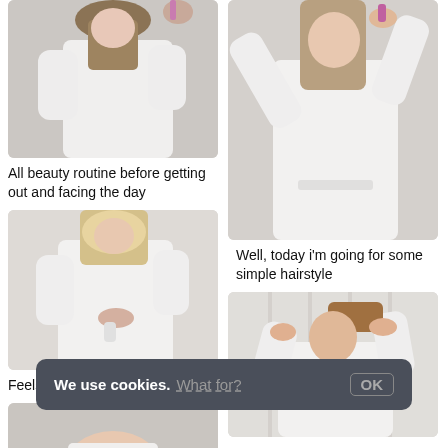[Figure (photo): Woman in white robe brushing her hair, left column top]
All beauty routine before getting out and facing the day
[Figure (photo): Woman in white robe holding a product, left column middle]
Feels nicer than i expected
[Figure (photo): Partial photo at bottom left]
[Figure (photo): Woman in white robe with hand in hair, right column top]
Well, today i'm going for some simple hairstyle
[Figure (photo): Woman in white robe pulling hair up, right column bottom]
We use cookies. What for? OK